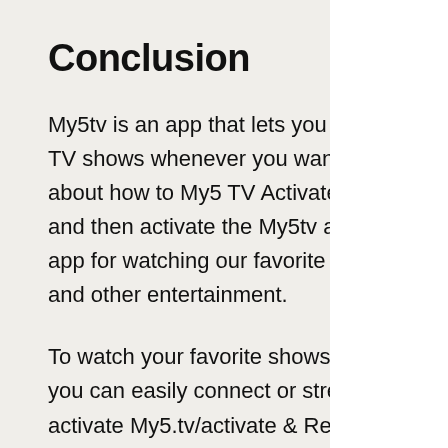Conclusion
My5tv is an app that lets you stream movies and TV shows whenever you want. We are going to talk about how to My5 TV Activate and how to download and then activate the My5tv app. It is the best app for watching our favorite TV shows, movies, and other entertainment.
To watch your favorite shows on the big screen, you can easily connect or stream your movies. To activate My5.tv/activate & Register App, you just follow these easy steps. When you complete registration is done, we'll connect to your Smart TV so you can watch movies, etc.